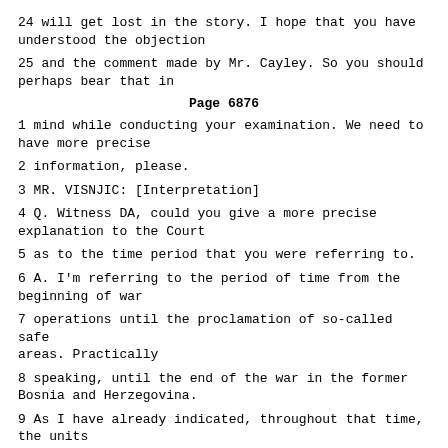24 will get lost in the story. I hope that you have understood the objection
25 and the comment made by Mr. Cayley. So you should perhaps bear that in
Page 6876
1 mind while conducting your examination. We need to have more precise
2 information, please.
3 MR. VISNJIC: [Interpretation]
4 Q. Witness DA, could you give a more precise explanation to the Court
5 as to the time period that you were referring to.
6 A. I'm referring to the period of time from the beginning of war
7 operations until the proclamation of so-called safe areas. Practically
8 speaking, until the end of the war in the former Bosnia and Herzegovina.
9 As I have already indicated, throughout that time, the units